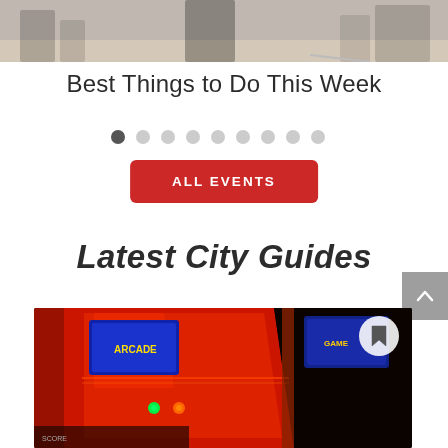[Figure (photo): Top portion of a photo showing people outdoors on a street, partial view cropped at top]
Best Things to Do This Week
[Figure (infographic): Pagination dots row: one dark dot followed by eight lighter dots]
ALL EVENTS
Latest City Guides
[Figure (photo): Colorful arcade machine with red panels, blue screens, and green/orange lights, with a bookmark icon circle in top right corner]